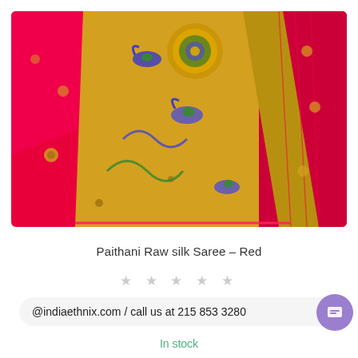[Figure (photo): Close-up photograph of a Paithani Raw Silk Saree in red/pink color with golden border featuring intricate peacock and floral motifs in blue, green and gold.]
Paithani Raw silk Saree – Red
★ ★ ★ ★ ★
@indiaethnix.com / call us at 215 853 3280
In stock